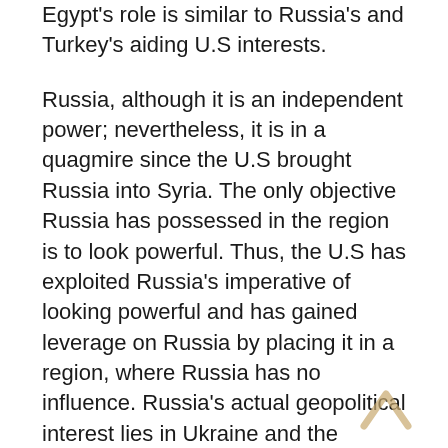Egypt's role is similar to Russia's and Turkey's aiding U.S interests.
Russia, although it is an independent power; nevertheless, it is in a quagmire since the U.S brought Russia into Syria. The only objective Russia has possessed in the region is to look powerful. Thus, the U.S has exploited Russia's imperative of looking powerful and has gained leverage on Russia by placing it in a region, where Russia has no influence. Russia's actual geopolitical interest lies in Ukraine and the Caucasus, not in the Middle East. Thus, the U.S has entrapped Russia with the ongoing issues in the Middle East, where it fails to exit the region successfully. The problems with Russia is that it has no political objectives in the Middle East and neither it possesses enough land power to place in the Middle Eastern region. Thus, this is why Russia has been aiding Haftar through